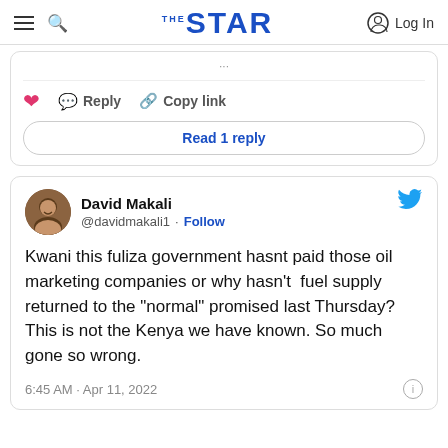THE STAR — Log In
Reply   Copy link
Read 1 reply
David Makali @davidmakali1 · Follow
Kwani this fuliza government hasnt paid those oil marketing companies or why hasn't  fuel supply returned to the "normal" promised last Thursday? This is not the Kenya we have known. So much gone so wrong.
6:45 AM · Apr 11, 2022